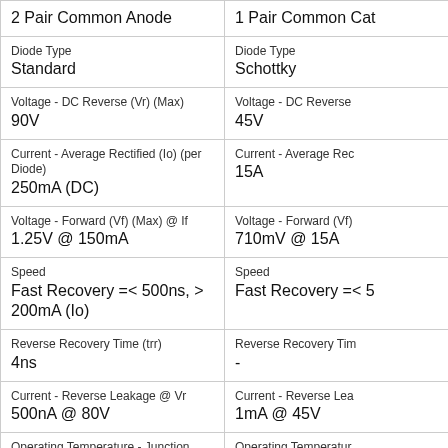| 2 Pair Common Anode | 1 Pair Common Cat |
| Diode Type
Standard | Diode Type
Schottky |
| Voltage - DC Reverse (Vr) (Max)
90V | Voltage - DC Reverse
45V |
| Current - Average Rectified (Io) (per Diode)
250mA (DC) | Current - Average Rec
15A |
| Voltage - Forward (Vf) (Max) @ If
1.25V @ 150mA | Voltage - Forward (Vf)
710mV @ 15A |
| Speed
Fast Recovery =< 500ns, > 200mA (Io) | Speed
Fast Recovery =< 5 |
| Reverse Recovery Time (trr)
4ns | Reverse Recovery Tin
- |
| Current - Reverse Leakage @ Vr
500nA @ 80V | Current - Reverse Lea
1mA @ 45V |
| Operating Temperature - Junction
150°C (Max) | Operating Temperatur
-55°C ~ 150°C |
| Mounting Type
Surface Mount | Mounting Type
Surface Mount |